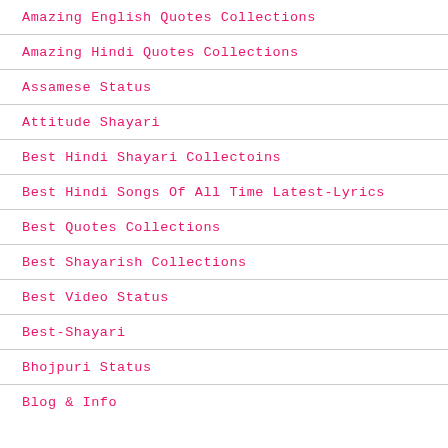Amazing English Quotes Collections
Amazing Hindi Quotes Collections
Assamese Status
Attitude Shayari
Best Hindi Shayari Collectoins
Best Hindi Songs Of All Time Latest-Lyrics
Best Quotes Collections
Best Shayarish Collections
Best Video Status
Best-Shayari
Bhojpuri Status
Blog & Info